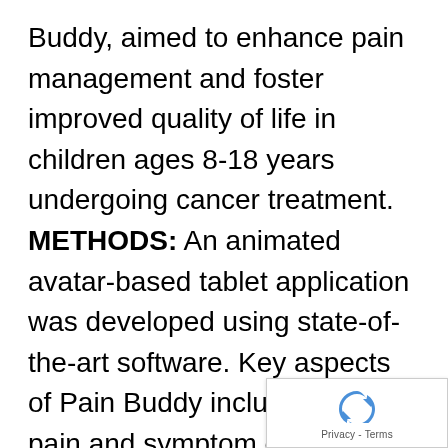Buddy, aimed to enhance pain management and foster improved quality of life in children ages 8-18 years undergoing cancer treatment. METHODS: An animated avatar-based tablet application was developed using state-of-the-art software. Key aspects of Pain Buddy include daily pain and symptom diaries completed by children, remote monitoring of symptoms by uploading patient's data through internet to a cloud server, cognitive and behavioral skills training, interactive three-dimensional avatars that guide children through the program, and an incentive system to motivate engagement. Twelve children between the ages of 8 and 18 participated in a pilot study of Pain Buddy. RESULTS: Children were highly satisfied with the program. Pain and appetite